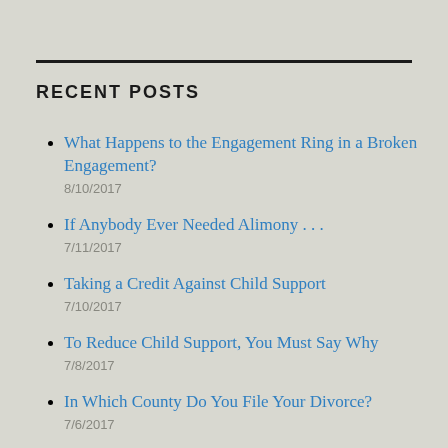RECENT POSTS
What Happens to the Engagement Ring in a Broken Engagement?
8/10/2017
If Anybody Ever Needed Alimony . . .
7/11/2017
Taking a Credit Against Child Support
7/10/2017
To Reduce Child Support, You Must Say Why
7/8/2017
In Which County Do You File Your Divorce?
7/6/2017